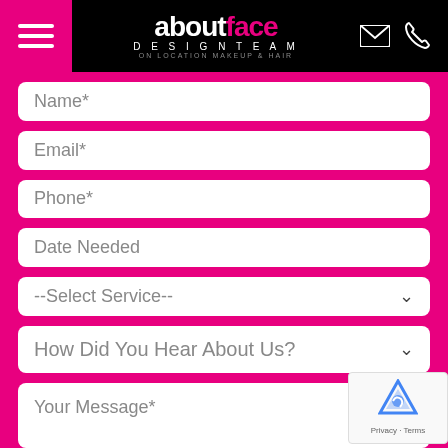aboutface DESIGN TEAM ON LOCATION MAKEUP & HAIR
Name*
Email*
Phone*
Date Needed
--Select Service--
How Did You Hear About Us?
Your Message*